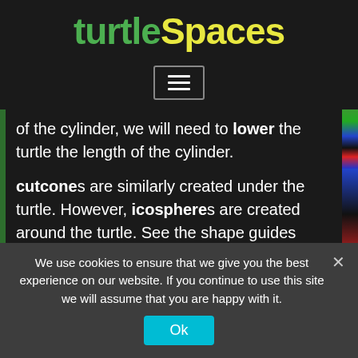turtleSpaces
[Figure (other): Hamburger menu button with three horizontal lines]
of the cylinder, we will need to lower the turtle the length of the cylinder.
cutcones are similarly created under the turtle. However, icospheres are created around the turtle. See the shape guides available on this website for more information about shape orientations relative to the
We use cookies to ensure that we give you the best experience on our website. If you continue to use this site we will assume that you are happy with it.